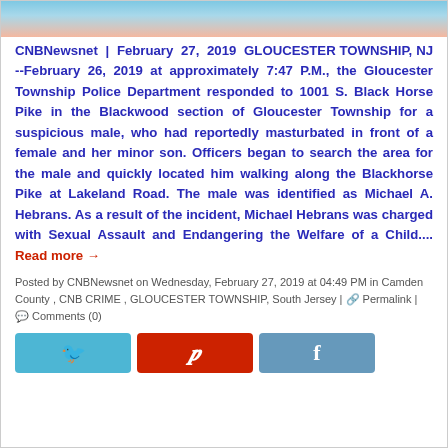[Figure (photo): Partial view of a person's face/head photo strip at top of article]
CNBNewsnet | February 27, 2019 GLOUCESTER TOWNSHIP, NJ --February 26, 2019 at approximately 7:47 P.M., the Gloucester Township Police Department responded to 1001 S. Black Horse Pike in the Blackwood section of Gloucester Township for a suspicious male, who had reportedly masturbated in front of a female and her minor son. Officers began to search the area for the male and quickly located him walking along the Blackhorse Pike at Lakeland Road. The male was identified as Michael A. Hebrans. As a result of the incident, Michael Hebrans was charged with Sexual Assault and Endangering the Welfare of a Child.... Read more →
Posted by CNBNewsnet on Wednesday, February 27, 2019 at 04:49 PM in Camden County , CNB CRIME , GLOUCESTER TOWNSHIP, South Jersey | Permalink | Comments (0)
[Figure (other): Social sharing buttons: Twitter, Pinterest, Facebook]